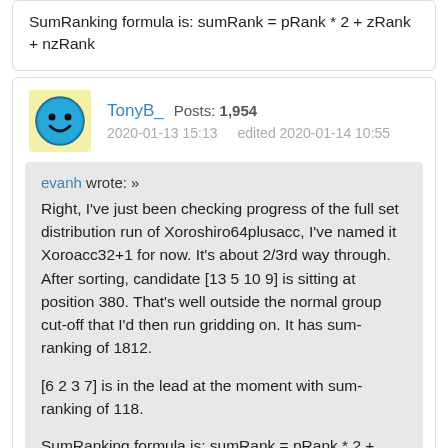SumRanking formula is: sumRank = pRank * 2 + zRank + nzRank
TonyB_  Posts: 1,954  2020-01-13 15:13  edited 2020-01-14 10:55
evanh wrote: » Right, I've just been checking progress of the full set distribution run of Xoroshiro64plusacc, I've named it Xoroacc32+1 for now. It's about 2/3rd way through. After sorting, candidate [13 5 10 9] is sitting at position 380. That's well outside the normal group cut-off that I'd then run gridding on. It has sum-ranking of 1812.

[6 2 3 7] is in the lead at the moment with sum-ranking of 118.

SumRanking formula is: sumRank = pRank * 2 + zRank + nzRank